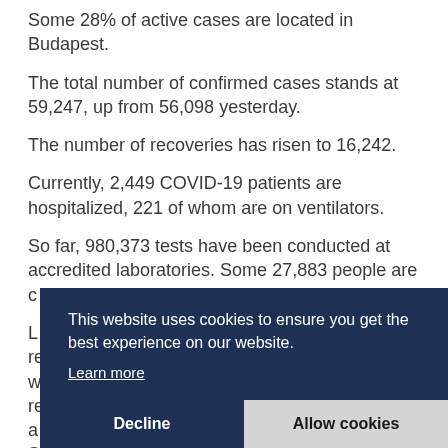Some 28% of active cases are located in Budapest.
The total number of confirmed cases stands at 59,247, up from 56,098 yesterday.
The number of recoveries has risen to 16,242.
Currently, 2,449 COVID-19 patients are hospitalized, 221 of whom are on ventilators.
So far, 980,373 tests have been conducted at accredited laboratories. Some 27,883 people are c[partially obscured]
L[partially obscured] re[partially obscured] w[partially obscured] re[partially obscured] a[partially obscured] S[partially obscured]
This website uses cookies to ensure you get the best experience on our website. Learn more
Decline   Allow cookies